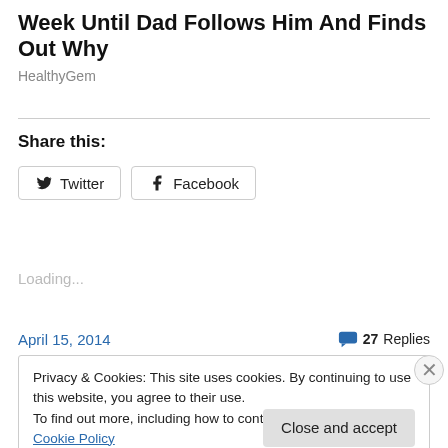Week Until Dad Follows Him And Finds Out Why
HealthyGem
Share this:
Loading...
April 15, 2014
27 Replies
Privacy & Cookies: This site uses cookies. By continuing to use this website, you agree to their use.
To find out more, including how to control cookies, see here: Cookie Policy
Close and accept